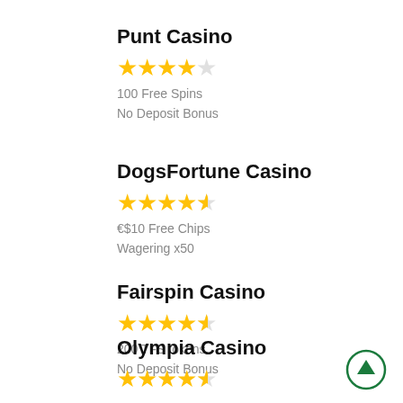Punt Casino
100 Free Spins
No Deposit Bonus
DogsFortune Casino
€$10 Free Chips
Wagering x50
Fairspin Casino
200 TFS tokens
No Deposit Bonus
Olympia Casino
[Figure (illustration): Green circle with upward arrow scroll-to-top button]